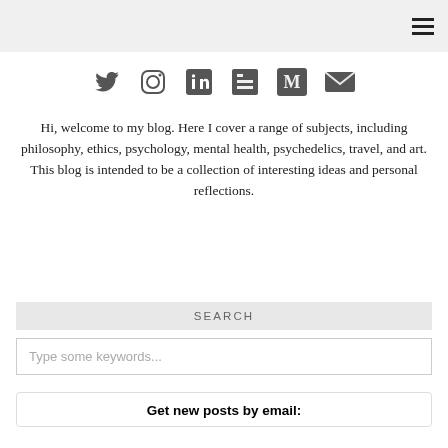[hamburger menu icon]
[Figure (infographic): Row of 6 social media icons: Twitter bird, Instagram camera outline, LinkedIn in-box, RSS feed icon, Medium M icon, envelope/email icon — all in dark gray]
Hi, welcome to my blog. Here I cover a range of subjects, including philosophy, ethics, psychology, mental health, psychedelics, travel, and art. This blog is intended to be a collection of interesting ideas and personal reflections.
SEARCH
Type some keywords...
Get new posts by email: